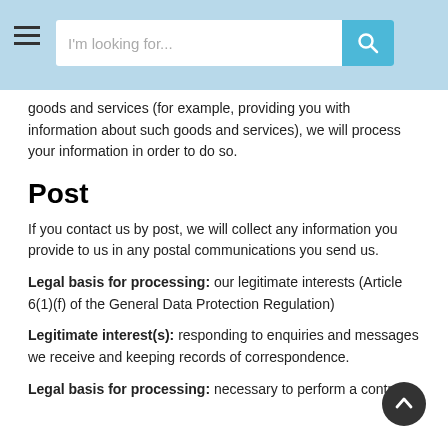I'm looking for...
goods and services (for example, providing you with information about such goods and services), we will process your information in order to do so.
Post
If you contact us by post, we will collect any information you provide to us in any postal communications you send us.
Legal basis for processing: our legitimate interests (Article 6(1)(f) of the General Data Protection Regulation)
Legitimate interest(s): responding to enquiries and messages we receive and keeping records of correspondence.
Legal basis for processing: necessary to perform a contract